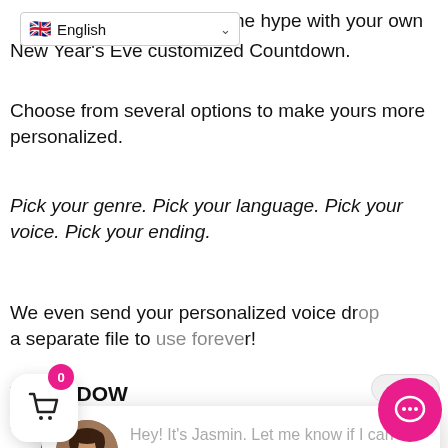[Figure (screenshot): Language selector dropdown showing UK flag and 'English' text with chevron]
he hype with your own New Year's Eve customized Countdown.
Choose from several options to make yours more personalized.
Pick your genre. Pick your language. Pick your voice. Pick your ending.
We even send your personalized voice dr... a separate file to use forever!
YOUR DOW
[Figure (screenshot): Chat popup with avatar of Jasmin and message: Hey! It's Jasmin. Let me know if I can help with anything.]
New Ye... shell wi...
A SECOND NYE Countdown version with music at no charge as a demonstrat... of how to use it*.
A professionally voiced DJ drop** (MP3